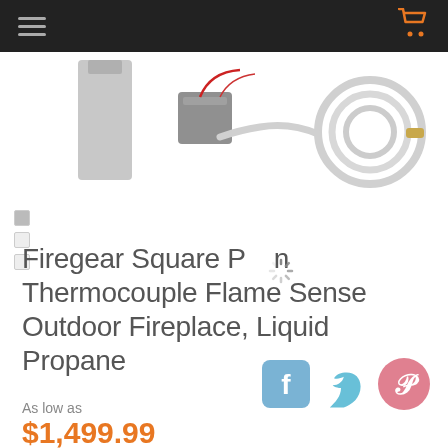Navigation bar with hamburger menu and cart icon
[Figure (photo): Product image showing Firegear Square Pan Thermocouple Flame Sense Outdoor Fireplace components: control box, gas hose, brackets, labeled SKYTECH]
Firegear Square Pan Thermocouple Flame Sense Outdoor Fireplace, Liquid Propane
[Figure (infographic): Social sharing icons: Facebook (blue), Twitter (light blue), Pinterest (pink/red)]
As low as
$1,499.99